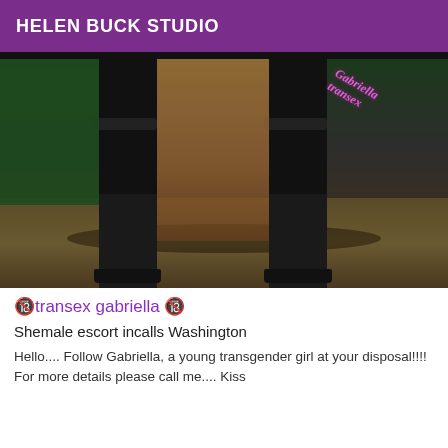HELEN BUCK STUDIO
[Figure (photo): Photo showing legs of a person wearing black stockings and heels, with a decorative sash with cursive text, standing on a tiled floor near a green wall and plant]
🔞transex gabriella 🔞
Shemale escort incalls Washington
Hello.... Follow Gabriella, a young transgender girl at your disposal!!!! For more details please call me.... Kiss